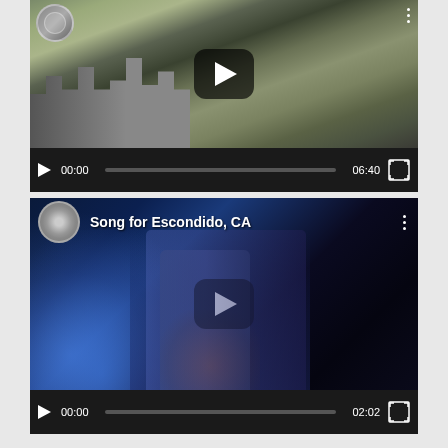[Figure (screenshot): Video player showing aerial view of a city (Escondido, CA area) with play button overlay, video controls showing time 00:00 and duration 06:40]
[Figure (screenshot): Video player showing concert performance titled 'Song for Escondido, CA' with channel avatar, performer playing guitar, play button overlay, video controls showing time 00:00 and duration 02:02]